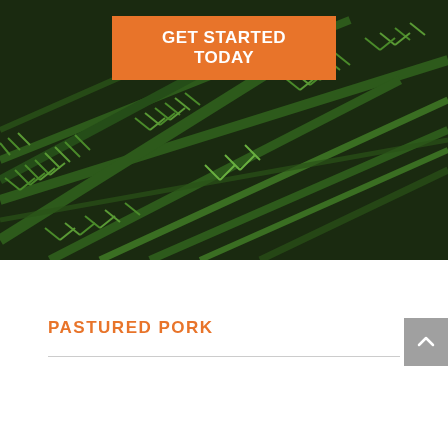[Figure (photo): Close-up photo of rosemary sprigs with dark background, green needle-like leaves filling the frame]
GET STARTED TODAY
PASTURED PORK